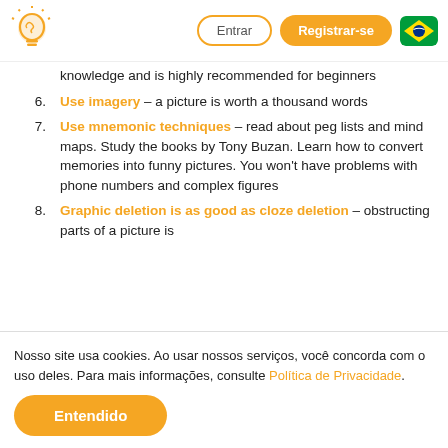Entrar | Registrar-se
knowledge and is highly recommended for beginners
6. Use imagery – a picture is worth a thousand words
7. Use mnemonic techniques – read about peg lists and mind maps. Study the books by Tony Buzan. Learn how to convert memories into funny pictures. You won't have problems with phone numbers and complex figures
8. Graphic deletion is as good as cloze deletion – obstructing parts of a picture is
Nosso site usa cookies. Ao usar nossos serviços, você concorda com o uso deles. Para mais informações, consulte Política de Privacidade.
Entendido